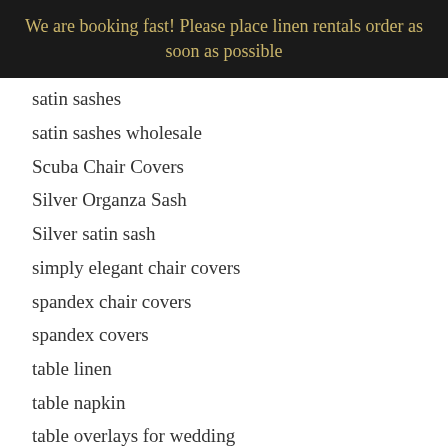We are booking fast! Please place linen rentals order as soon as possible
satin sashes
satin sashes wholesale
Scuba Chair Covers
Silver Organza Sash
Silver satin sash
simply elegant chair covers
spandex chair covers
spandex covers
table linen
table napkin
table overlays for wedding
table overlays for weddings